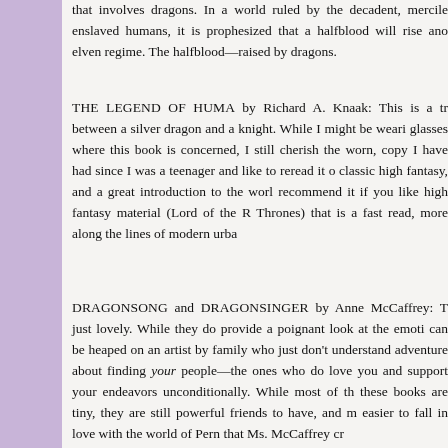that involves dragons. In a world ruled by the decadent, mercile enslaved humans, it is prophesized that a halfblood will rise ano elven regime. The halfblood—raised by dragons.
THE LEGEND OF HUMA by Richard A. Knaak: This is a tr between a silver dragon and a knight. While I might be weari glasses where this book is concerned, I still cherish the worn, copy I have had since I was a teenager and like to reread it o classic high fantasy, and a great introduction to the worl recommend it if you like high fantasy material (Lord of the R Thrones) that is a fast read, more along the lines of modern urba
DRAGONSONG and DRAGONSINGER by Anne McCaffrey: T just lovely. While they do provide a poignant look at the emoti can be heaped on an artist by family who just don't understand adventure about finding your people—the ones who do love you and support your endeavors unconditionally. While most of th these books are tiny, they are still powerful friends to have, and m easier to fall in love with the world of Pern that Ms. McCaffrey cr